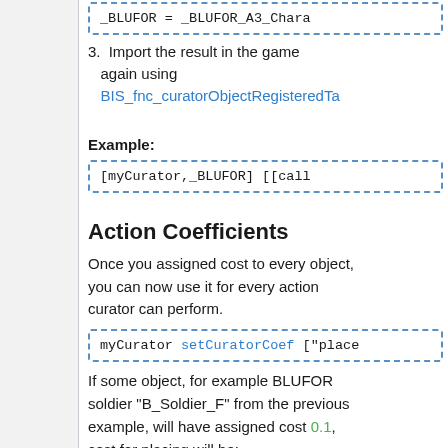[Figure (screenshot): Code box showing: _BLUFOR = _BLUFOR_A3_Chara (truncated)]
3. Import the result in the game again using BIS_fnc_curatorObjectRegisteredTa... Example: [myCurator,_BLUFOR] [[call (truncated)
Action Coefficients
Once you assigned cost to every object, you can now use it for every action curator can perform.
[Figure (screenshot): Code box showing: myCurator setCuratorCoef ["place (truncated)]
If some object, for example BLUFOR soldier "B_Soldier_F" from the previous example, will have assigned cost 0.1, cost for placing will be: